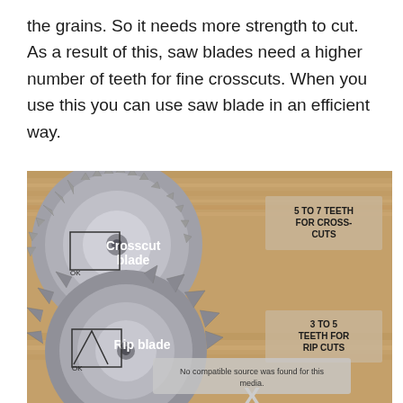the grains. So it needs more strength to cut. As a result of this, saw blades need a higher number of teeth for fine crosscuts. When you use this you can use saw blade in an efficient way.
[Figure (photo): Photo showing two circular saw blades against a wooden board background. The top blade is labeled 'Crosscut blade' with annotation '5 TO 7 TEETH FOR CROSS-CUTS'. The bottom blade is labeled 'Rip blade' with annotation '3 TO 5 TEETH FOR RIP CUTS'. An overlay message reads 'No compatible source was found for this media.' with an X symbol at the bottom.]